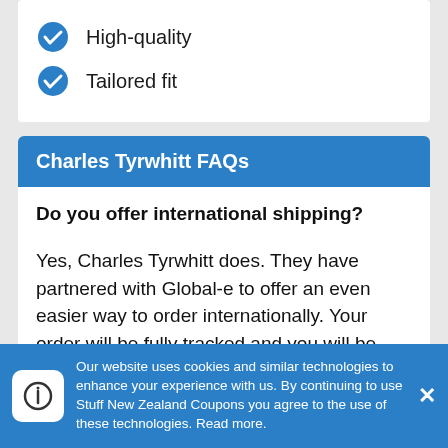High-quality
Tailored fit
Charles Tyrwhitt FAQs
Do you offer international shipping?
Yes, Charles Tyrwhitt does. They have partnered with Global-e to offer an even easier way to order internationally. Your order will be fully tracked and you will be able to pay in your local currency.
Our website uses cookies and similar technologies to enhance your experience with us. By continuing to use Stuff New Zealand Coupons you agree to the use of these technologies. Read more.